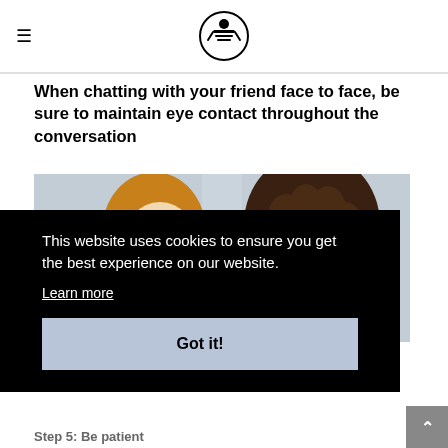☰ [logo icon]
When chatting with your friend face to face, be sure to maintain eye contact throughout the conversation
[Figure (illustration): Illustration of two people facing away from each other: a woman with long auburn hair on the left with eyes downcast, and a person with dark curly hair on the right, set against a light blue-grey background.]
This website uses cookies to ensure you get the best experience on our website.
Learn more
Got it!
Step 5: Be patient